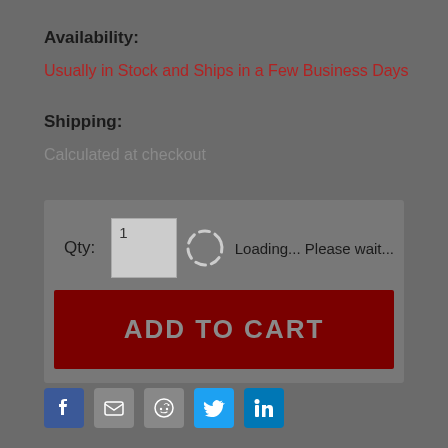Availability:
Usually in Stock and Ships in a Few Business Days
Shipping:
Calculated at checkout
[Figure (screenshot): E-commerce product page section showing Qty field with value 1, a loading spinner with 'Loading... Please wait...' text, and a dark red ADD TO CART button]
[Figure (infographic): Social sharing icons row: Facebook, Email, Reddit, Twitter, LinkedIn]